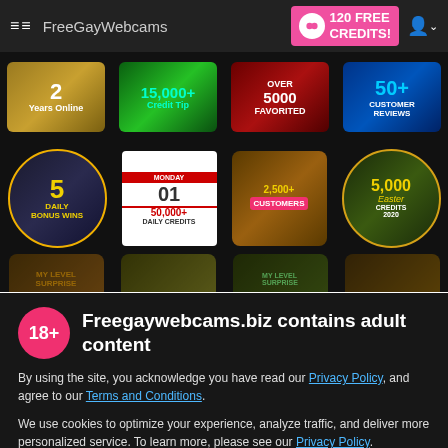FreeGayWebcams — 120 FREE CREDITS!
[Figure (screenshot): Website badges showing: 2 Years Online, 15,000+ Credit Tip, OVER 5000 FAVORITED, 50+ CUSTOMER REVIEWS, 5 DAILY BONUS WINS, 50,000+ DAILY CREDITS, 2,500+ CUSTOMERS, 5,000 Easter CREDITS 2020, and a partially visible third row of badges]
Freegaywebcams.biz contains adult content
By using the site, you acknowledge you have read our Privacy Policy, and agree to our Terms and Conditions.
We use cookies to optimize your experience, analyze traffic, and deliver more personalized service. To learn more, please see our Privacy Policy.
I AGREE